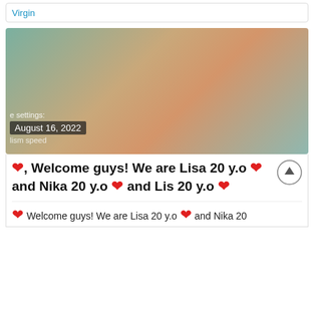Virgin
[Figure (photo): A photograph with a date overlay reading 'August 16, 2022' and overlaid text 'e settings:' and 'lism speed']
♥, Welcome guys! We are Lisa 20 y.o ♥ and Nika 20 y.o ♥ and Lis 20 y.o ♥
♥ Welcome guys! We are Lisa 20 y.o ♥ and Nika 20